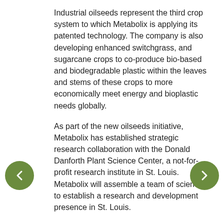Industrial oilseeds represent the third crop system to which Metabolix is applying its patented technology. The company is also developing enhanced switchgrass, and sugarcane crops to co-produce bio-based and biodegradable plastic within the leaves and stems of these crops to more economically meet energy and bioplastic needs globally.
As part of the new oilseeds initiative, Metabolix has established strategic research collaboration with the Donald Danforth Plant Science Center, a not-for-profit research institute in St. Louis. Metabolix will assemble a team of scientists to establish a research and development presence in St. Louis.
The team will work closely with Danforth's Principal Investigators Drs. Jan Jaworski, Edgar Cahoon and Joseph Jez. This collaboration is supported financially by a 2-year, $1.14 million grant from the Missouri Life Sciences Trust Fund to the Danforth Center.
Metabolix is now developing and commercializing Mirel